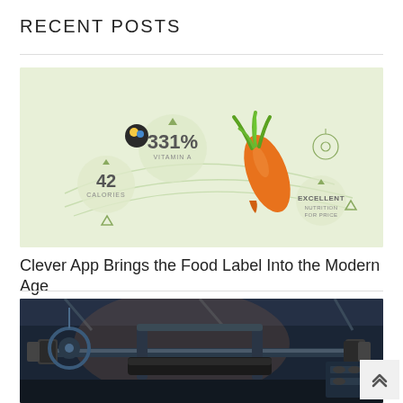RECENT POSTS
[Figure (infographic): Food nutrition infographic showing a carrot with stats: 331% Vitamin A, 42 Calories, Excellent Nutrition For Price, on a light green background]
Clever App Brings the Food Label Into the Modern Age
[Figure (photo): Photo of gym equipment / weight bench in a dark industrial gym setting]